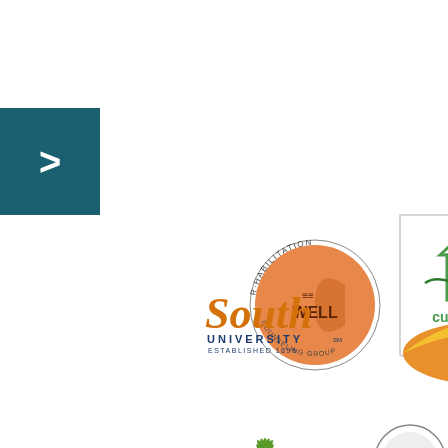[Figure (logo): Dark teal navigation button with right-pointing chevron arrow]
[Figure (logo): Rehabilitation Counseling Group logo: orange yin-yang symbol with text 'REHABILITATION COUNSELING GROUP' around the edge]
[Figure (logo): Cumberland Heights logo: green house/building icon with text 'cumberland heights' in green on white badge shape]
[Figure (logo): South University logo: orange serif 'South' with blue 'UNIVERSITY' and 'ESTABLISHED 1899' below]
[Figure (logo): Florida Acupuncture and Counseling, Inc. logo: sunset with palm tree silhouette, orange/yellow gradient]
[Figure (logo): Partial green plant/leaf logo at bottom left, partially cut off]
[Figure (logo): Partial circular logo at bottom center, partially cut off]